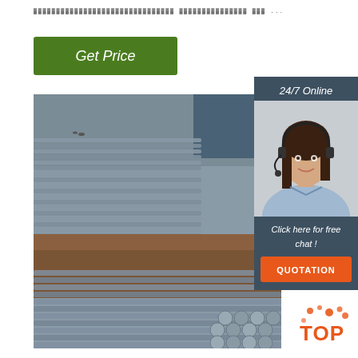▓▓▓▓▓▓▓▓▓▓▓▓▓▓▓▓▓▓▓▓▓▓▓▓▓▓▓▓▓▓▓ ▓▓▓▓▓▓▓▓▓▓▓▓▓▓▓ ▓▓▓ ...
[Figure (other): Green 'Get Price' button]
[Figure (photo): Photo of stacked grey steel rods/bars in a yard with dirt ground and blue structures in background, and bundled round steel bars in foreground]
[Figure (infographic): 24/7 Online chat widget showing a customer service representative with headset, text 'Click here for free chat!' and orange QUOTATION button]
[Figure (logo): TOP logo with orange dots/circles in bottom right corner]